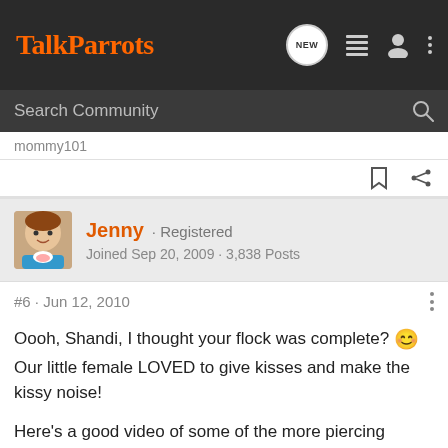TalkParrots
Search Community
mommy101
Jenny · Registered
Joined Sep 20, 2009 · 3,838 Posts
#6 · Jun 12, 2010
Oooh, Shandi, I thought your flock was complete? 😊 Our little female LOVED to give kisses and make the kissy noise!

Here's a good video of some of the more piercing noises they can make:

[nomedia="http://www.youtube.com/watch?